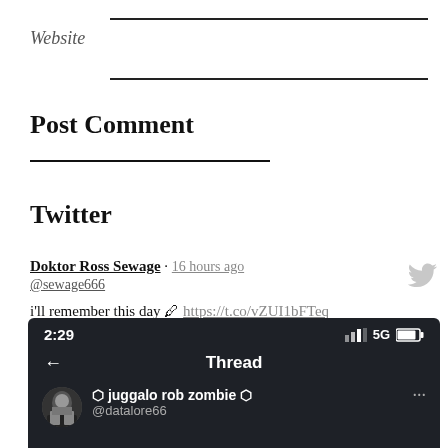Website
Post Comment
Twitter
Doktor Ross Sewage · 16 hours ago
@sewage666
i'll remember this day 🖊 https://t.co/vZUI1bFTeq
[Figure (screenshot): Mobile phone screenshot showing a Twitter/X thread view at 2:29 with 5G signal. The thread header shows 'Thread' title with a back arrow. Below is a tweet from user '⬡ juggalo rob zombie ⬡' with handle @datalore66.]